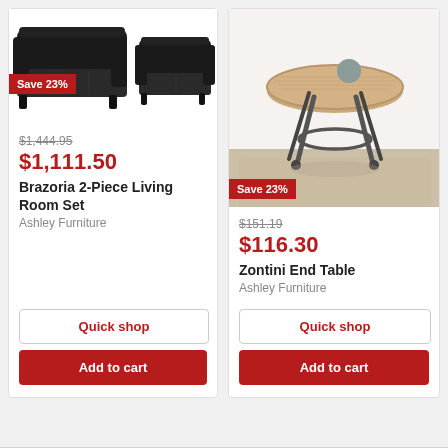[Figure (photo): Black leather sofa and loveseat set on white background with 'Save 23%' badge]
Save 23%
$1,444.95 (strikethrough original price)
$1,111.50
Brazoria 2-Piece Living Room Set
Ashley Furniture
Quick shop
Add to cart
[Figure (photo): Round wooden end table with metal legs on rug in room setting with 'Save 23%' badge]
Save 23%
$151.19 (strikethrough original price)
$116.30
Zontini End Table
Ashley Furniture
Quick shop
Add to cart